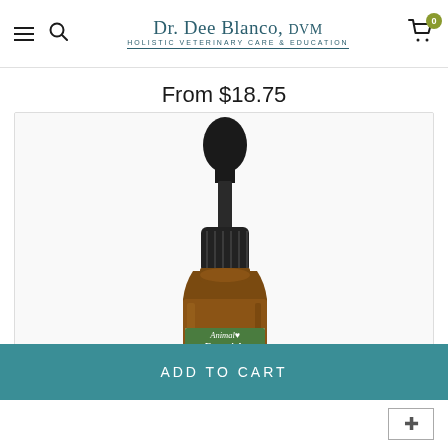Dr. Dee Blanco, DVM — Holistic Veterinary Care & Education
From $18.75
[Figure (photo): Amber glass dropper bottle of Animal Essentials Tranquility Blend, 30ml (1 fl oz), with black dropper cap, on white background inside a bordered product image frame.]
ADD TO CART